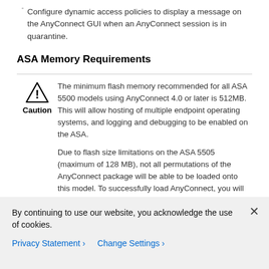Configure dynamic access policies to display a message on the AnyConnect GUI when an AnyConnect session is in quarantine.
ASA Memory Requirements
The minimum flash memory recommended for all ASA 5500 models using AnyConnect 4.0 or later is 512MB. This will allow hosting of multiple endpoint operating systems, and logging and debugging to be enabled on the ASA.

Due to flash size limitations on the ASA 5505 (maximum of 128 MB), not all permutations of the AnyConnect package will be able to be loaded onto this model. To successfully load AnyConnect, you will need to reduce the size
By continuing to use our website, you acknowledge the use of cookies.
Privacy Statement › Change Settings ›